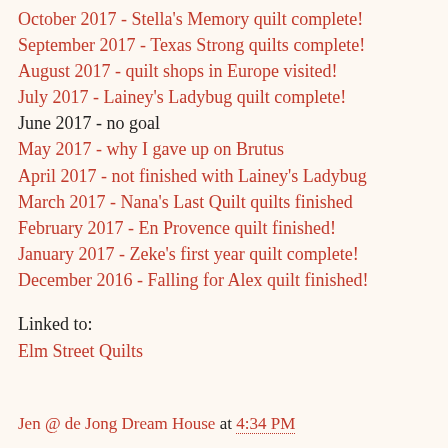October 2017 - Stella's Memory quilt complete!
September 2017 - Texas Strong quilts complete!
August 2017 - quilt shops in Europe visited!
July 2017 - Lainey's Ladybug quilt complete!
June 2017 - no goal
May 2017 - why I gave up on Brutus
April 2017 - not finished with Lainey's Ladybug
March 2017 - Nana's Last Quilt quilts finished
February 2017 - En Provence quilt finished!
January 2017 - Zeke's first year quilt complete!
December 2016 - Falling for Alex quilt finished!
Linked to:
Elm Street Quilts
Jen @ de Jong Dream House at 4:34 PM